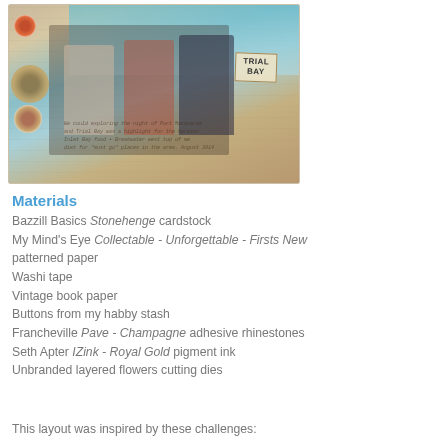[Figure (photo): Scrapbook layout titled 'Trial Bay' featuring a photo of three people (two women and a man) outdoors with decorative elements including paper flowers, washi tape, vintage book paper, and handwritten journaling on a tan/blue patterned background.]
Materials
Bazzill Basics Stonehenge cardstock
My Mind's Eye Collectable - Unforgettable - Firsts New patterned paper
Washi tape
Vintage book paper
Buttons from my habby stash
Francheville Pave - Champagne adhesive rhinestones
Seth Apter IZink - Royal Gold pigment ink
Unbranded layered flowers cutting dies
This layout was inspired by these challenges: